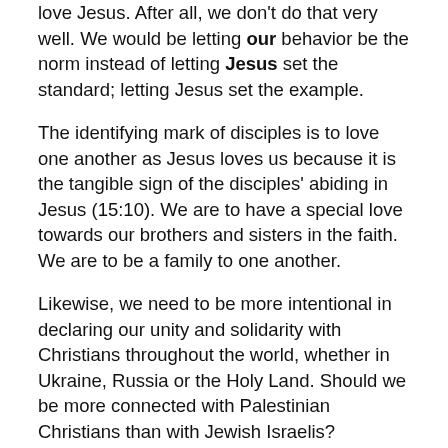love Jesus. After all, we don't do that very well. We would be letting our behavior be the norm instead of letting Jesus set the standard; letting Jesus set the example.
The identifying mark of disciples is to love one another as Jesus loves us because it is the tangible sign of the disciples' abiding in Jesus (15:10). We are to have a special love towards our brothers and sisters in the faith. We are to be a family to one another.
Likewise, we need to be more intentional in declaring our unity and solidarity with Christians throughout the world, whether in Ukraine, Russia or the Holy Land. Should we be more connected with Palestinian Christians than with Jewish Israelis? American Christians show little outrage when the Israelis persecute these fellow believers and forbid them from going to work or to church. The ELCA has a project called Peace, Not Walls that aids people in standing with their Christian family in the Holy Land. We are members of the same faith family. Shouldn't we stand with our faith family members in Ukraine whose homes are bulldozed by Russians? We have stood with our brothers and sisters by giving through Lutheran World Relief and other agencies.
Love and obedience to God flow out of relationship and